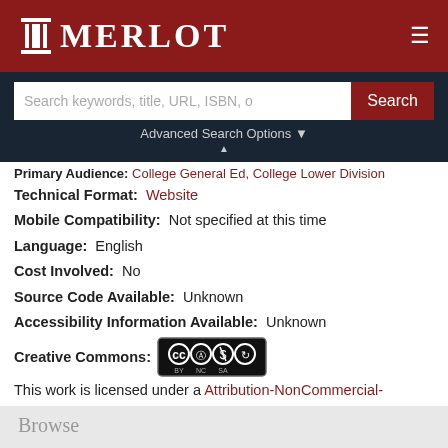MERLOT
Search keywords, title, URL, ISBN, o   Search
Advanced Search Options
Primary Audience: College General Ed, College Lower Division
Technical Format: Website
Mobile Compatibility: Not specified at this time
Language: English
Cost Involved: No
Source Code Available: Unknown
Accessibility Information Available: Unknown
Creative Commons:
[Figure (logo): Creative Commons Attribution-NonCommercial-ShareAlike license badge showing CC BY NC SA icons]
This work is licensed under a Attribution-NonCommercial-ShareAlike 3.0 United States
Browse